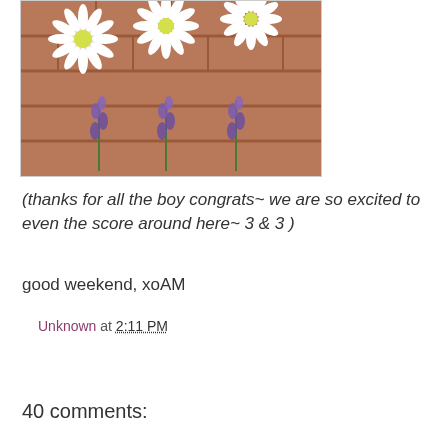[Figure (photo): Photo of white daisy flowers and purple lavender sprigs arranged on a brick surface]
(thanks for all the boy congrats~ we are so excited to even the score around here~ 3 & 3 )
good weekend, xoAM
Unknown at 2:11 PM
Share
40 comments: